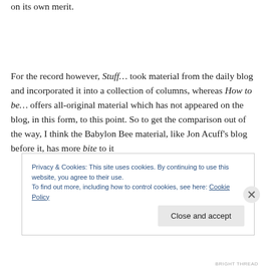on its own merit.
For the record however, Stuff… took material from the daily blog and incorporated it into a collection of columns, whereas How to be… offers all-original material which has not appeared on the blog, in this form, to this point. So to get the comparison out of the way, I think the Babylon Bee material, like Jon Acuff's blog before it, has more bite to it
Privacy & Cookies: This site uses cookies. By continuing to use this website, you agree to their use.
To find out more, including how to control cookies, see here: Cookie Policy
Close and accept